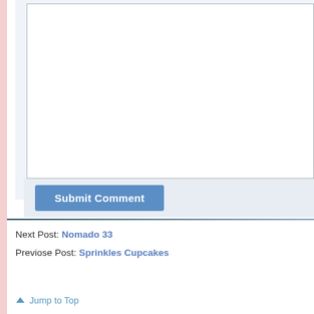[Figure (screenshot): Empty comment textarea input box with border]
Submit Comment
Next Post: Nomado 33
Previose Post: Sprinkles Cupcakes
Jump to Top